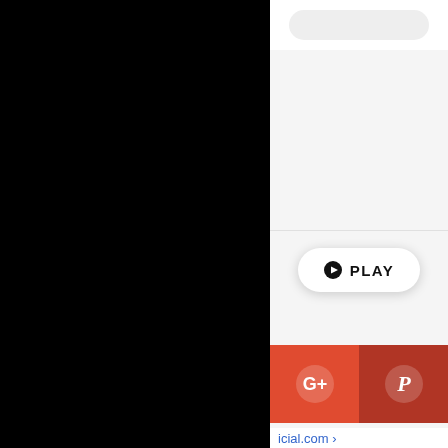[Figure (screenshot): Black panel on left side of screen (video/media player area), white UI panel on right with a rounded button at top, a horizontal divider, a PLAY button, social sharing buttons (Google+ and Pinterest) in a red bar, and a partial website URL at the bottom.]
PLAY
icial.com >